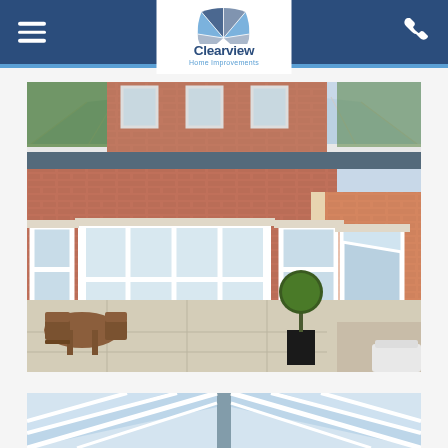Clearview Home Improvements - navigation header with hamburger menu and phone icon
[Figure (photo): Exterior view of a brick home extension with glass roof lantern structure, white uPVC bi-fold doors and windows, patio with wooden furniture]
[Figure (photo): Partial view of a glass roof lantern structure from below, showing white uPVC glazing bars against sky]